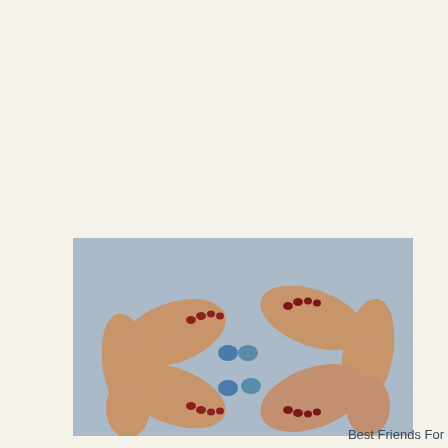[Figure (photo): Overhead view of four feet with painted toenails resting on a blue/grey towel. Two people's feet are shown, each with blue toenails on their big toes and red/dark polish on smaller toes, arranged symmetrically pointing toward each other.]
Best Friends For